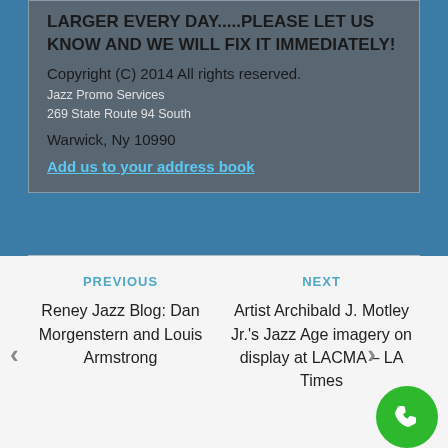LARGER EVERY DAY.....PLEASE LET US KNOW AND WE WILL FIX IT IMMEDIATELY!
Copyright (C) 2014 All rights reserved.
Jazz Promo Services
269 State Route 94 South
Warwick, Ny 10990
Add us to your address book
PREVIOUS
Reney Jazz Blog: Dan Morgenstern and Louis Armstrong
NEXT
Artist Archibald J. Motley Jr.'s Jazz Age imagery on display at LACMA – LA Times